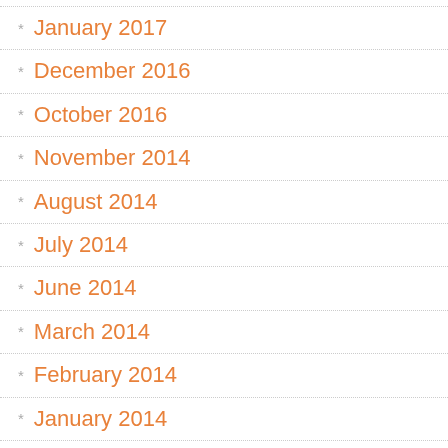January 2017
December 2016
October 2016
November 2014
August 2014
July 2014
June 2014
March 2014
February 2014
January 2014
December 2013
November 2013